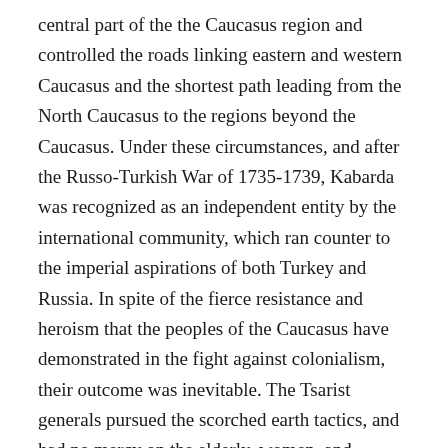central part of the the Caucasus region and controlled the roads linking eastern and western Caucasus and the shortest path leading from the North Caucasus to the regions beyond the Caucasus. Under these circumstances, and after the Russo-Turkish War of 1735-1739, Kabarda was recognized as an independent entity by the international community, which ran counter to the imperial aspirations of both Turkey and Russia. In spite of the fierce resistance and heroism that the peoples of the Caucasus have demonstrated in the fight against colonialism, their outcome was inevitable. The Tsarist generals pursued the scorched earth tactics, and had no mercy on the elderly, women, and children.
In his memoirs, the Russian general Rayevsky wrote: “Our actions in the Caucasus are similar